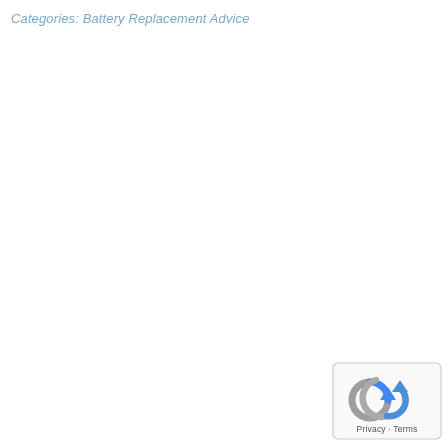Categories: Battery Replacement Advice
[Figure (other): reCAPTCHA widget showing a circular arrow icon in blue and grey, with 'Privacy - Terms' text below, inside a rounded rectangle with light grey border]